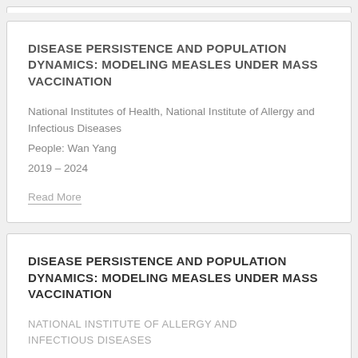DISEASE PERSISTENCE AND POPULATION DYNAMICS: MODELING MEASLES UNDER MASS VACCINATION
National Institutes of Health, National Institute of Allergy and Infectious Diseases
People: Wan Yang
2019 – 2024
Read More
DISEASE PERSISTENCE AND POPULATION DYNAMICS: MODELING MEASLES UNDER MASS VACCINATION
NATIONAL INSTITUTE OF ALLERGY AND INFECTIOUS DISEASES